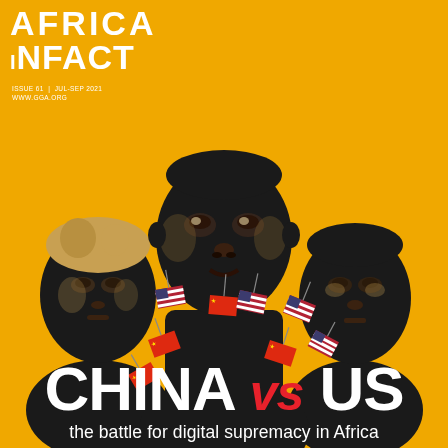[Figure (illustration): Magazine cover of Africa In Fact. Yellow/golden background featuring stylized black-and-white illustrations of three African faces (one woman with headwrap on the left, a man in the center, and another person on the right), all holding American and Chinese flags planted into their torsos/chests area.]
AFRICA iNFACT
ISSUE 61 | JUL–SEP 2021
WWW.GGA.ORG
CHINA vs US the battle for digital supremacy in Africa